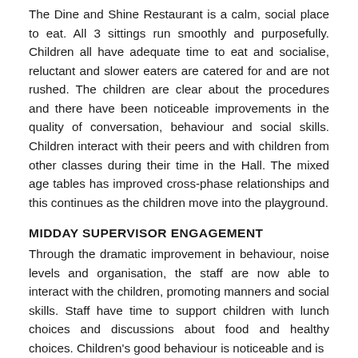The Dine and Shine Restaurant is a calm, social place to eat. All 3 sittings run smoothly and purposefully. Children all have adequate time to eat and socialise, reluctant and slower eaters are catered for and are not rushed. The children are clear about the procedures and there have been noticeable improvements in the quality of conversation, behaviour and social skills. Children interact with their peers and with children from other classes during their time in the Hall. The mixed age tables has improved cross-phase relationships and this continues as the children move into the playground.
MIDDAY SUPERVISOR ENGAGEMENT
Through the dramatic improvement in behaviour, noise levels and organisation, the staff are now able to interact with the children, promoting manners and social skills. Staff have time to support children with lunch choices and discussions about food and healthy choices. Children's good behaviour is noticeable and is